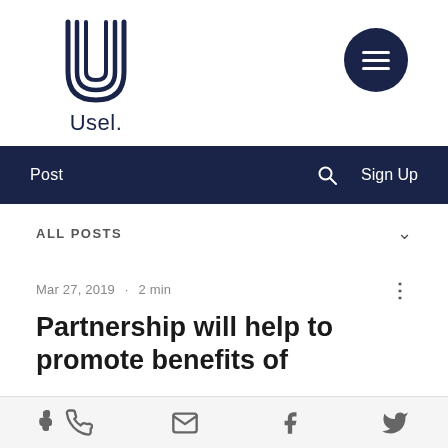[Figure (logo): Usel. company logo with stylized U letterform and wordmark]
Post  Search  Sign Up
ALL POSTS
Mar 27, 2019 · 2 min
Partnership will help to promote benefits of
Phone  Email  Facebook  Twitter